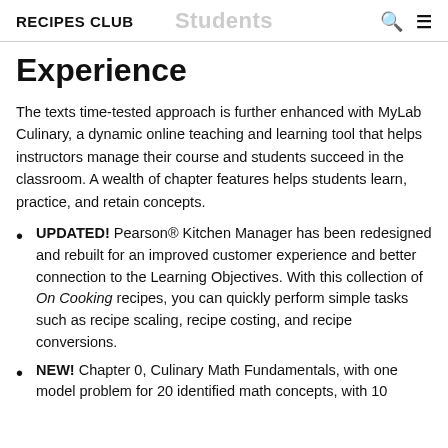RECIPES CLUB  Students  Q  ≡
Experience
The texts time-tested approach is further enhanced with MyLab Culinary, a dynamic online teaching and learning tool that helps instructors manage their course and students succeed in the classroom. A wealth of chapter features helps students learn, practice, and retain concepts.
UPDATED! Pearson® Kitchen Manager has been redesigned and rebuilt for an improved customer experience and better connection to the Learning Objectives. With this collection of On Cooking recipes, you can quickly perform simple tasks such as recipe scaling, recipe costing, and recipe conversions.
NEW! Chapter 0, Culinary Math Fundamentals, with one model problem for 20 identified math concepts, with 10 questions and lots of practice concepts.